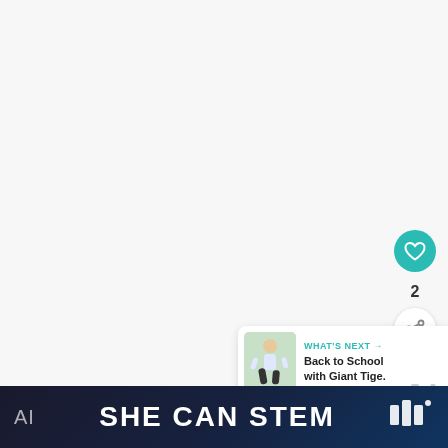[Figure (screenshot): White/light gray main content area of a webpage, mostly blank]
[Figure (infographic): Teal circular heart/like button with heart icon, count of 2, and white circular share button with share icon]
[Figure (infographic): What's Next panel showing a thumbnail image of a child and text: WHAT'S NEXT → Back to School with Giant Tige.]
[Figure (logo): Watermark logo (three vertical bars) top right area]
[Figure (infographic): Dark banner at bottom with 'AI' on left, 'SHE CAN STEM' centered in bold white text, and logo on right]